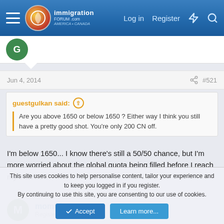immigration forum - Log in | Register
Jun 4, 2014  #521
guestgulkan said: Are you above 1650 or below 1650 ? Either way I think you still have a pretty good shot. You're only 200 CN off.
I'm below 1650... I know there's still a 50/50 chance, but I'm more worried about the global quota being filled before I reach my interview
mom08
Registered Users (C)
This site uses cookies to help personalise content, tailor your experience and to keep you logged in if you register.
By continuing to use this site, you are consenting to our use of cookies.
Accept  Learn more...